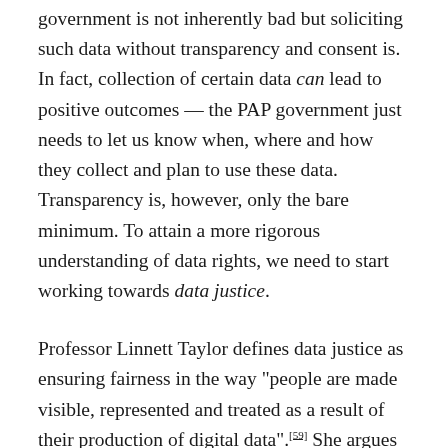government is not inherently bad but soliciting such data without transparency and consent is. In fact, collection of certain data can lead to positive outcomes — the PAP government just needs to let us know when, where and how they collect and plan to use these data. Transparency is, however, only the bare minimum. To attain a more rigorous understanding of data rights, we need to start working towards data justice.
Professor Linnett Taylor defines data justice as ensuring fairness in the way "people are made visible, represented and treated as a result of their production of digital data".[59] She argues that data justice is necessary to determine ethical paths through a digital and datafied world. This means that we can no longer view only the government as the sole proprietors of our data. Instead,